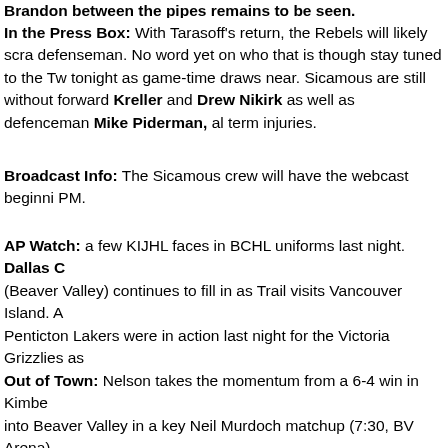Brandon between the pipes remains to be seen.
In the Press Box: With Tarasoff's return, the Rebels will likely scratch a defenseman. No word yet on who that is though stay tuned to the Twitter feed tonight as game-time draws near. Sicamous are still without forward Kreller and Drew Nikirk as well as defenceman Mike Piderman, all long-term injuries.
Broadcast Info: The Sicamous crew will have the webcast beginning at 7:30 PM.
AP Watch: a few KIJHL faces in BCHL uniforms last night. Dallas C (Beaver Valley) continues to fill in as Trail visits Vancouver Island. A couple of Penticton Lakers were in action last night for the Victoria Grizzlies as well. Defenseman Brandon Halls and forward Mike Sandor dressed for a loss against Vernon.
Out of Town: Nelson takes the momentum from a 6-4 win in Kimberley into Beaver Valley in a key Neil Murdoch matchup (7:30, BV Arena). Also, former Rebel Andrew Walton gets a shot at revenge as Fernie visits Creston Valley. Walton's 'Riders debut was spoiled by Creston (Brandon Form GWG), however he played last night in Fernie's 7-1 win against Spo Tomorrow's opponent, the Revelstoke Grizzlies, host North Okanaga
Bits & Bites: Fernie has picked up forward Briar McNaney (ex-Ro